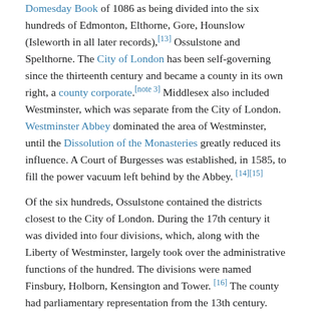Domesday Book of 1086 as being divided into the six hundreds of Edmonton, Elthorne, Gore, Hounslow (Isleworth in all later records),[13] Ossulstone and Spelthorne. The City of London has been self-governing since the thirteenth century and became a county in its own right, a county corporate.[note 3] Middlesex also included Westminster, which was separate from the City of London. Westminster Abbey dominated the area of Westminster, until the Dissolution of the Monasteries greatly reduced its influence. A Court of Burgesses was established, in 1585, to fill the power vacuum left behind by the Abbey. [14][15]
Of the six hundreds, Ossulstone contained the districts closest to the City of London. During the 17th century it was divided into four divisions, which, along with the Liberty of Westminster, largely took over the administrative functions of the hundred. The divisions were named Finsbury, Holborn, Kensington and Tower. [16] The county had parliamentary representation from the 13th century.
Middlesex outside the metropolitan area was administered by...